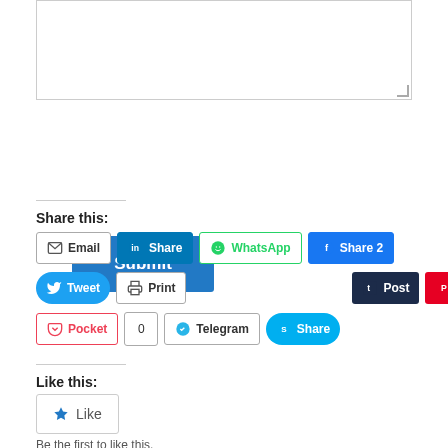[Figure (screenshot): A textarea input box with resize handle in the bottom-right corner]
[Figure (screenshot): A blue Submit button]
Share this:
[Figure (screenshot): Social sharing buttons row 1: Email, Share (LinkedIn), WhatsApp, Share 2 (Facebook)]
[Figure (screenshot): Social sharing buttons row 2: Tweet, Print, Post (Tumblr), Save (Pinterest)]
[Figure (screenshot): Social sharing buttons row 3: Pocket, 0, Telegram, Share (Skype)]
Like this:
[Figure (screenshot): Like button with star icon]
Be the first to like this.